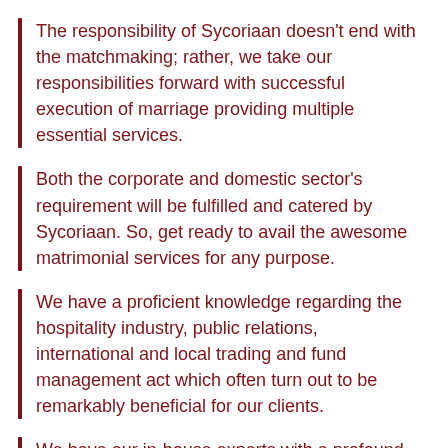The responsibility of Sycoriaan doesn't end with the matchmaking; rather, we take our responsibilities forward with successful execution of marriage providing multiple essential services.
Both the corporate and domestic sector's requirement will be fulfilled and catered by Sycoriaan. So, get ready to avail the awesome matrimonial services for any purpose.
We have a proficient knowledge regarding the hospitality industry, public relations, international and local trading and fund management act which often turn out to be remarkably beneficial for our clients.
We have our in-house experts with a profound knowledge in Indian cultures, and marriages. Our...